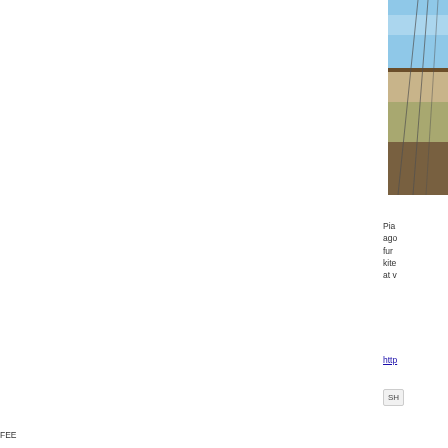[Figure (photo): Outdoor landscape photo showing sky, hillside or terrain with what appear to be cables or poles, partially cropped on the right edge of the page]
Pia ago fur kite at v
http
SH
FEE